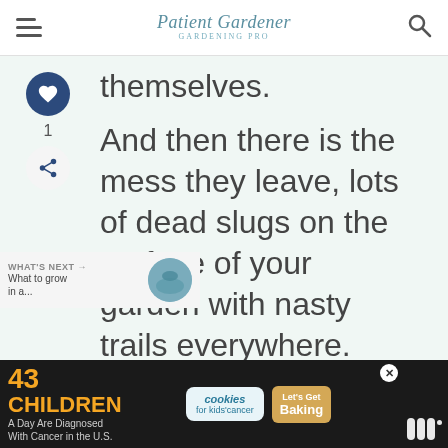Patient Gardener
themselves.
And then there is the mess they leave, lots of dead slugs on the surface of your garden with nasty trails everywhere.
This is a natural and organic way to kill slugs. There are all of nematodes, which are tiny little creatures that live in
[Figure (screenshot): Advertisement banner: '43 CHILDREN A Day Are Diagnosed With Cancer in the U.S.' with cookies for kids cancer logo and Let's Get Baking text]